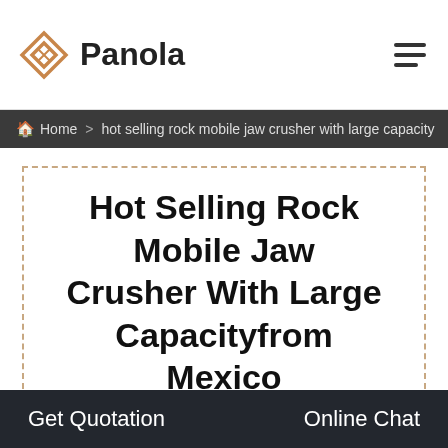Panola
Home > hot selling rock mobile jaw crusher with large capacity
Hot Selling Rock Mobile Jaw Crusher With Large Capacityfrom Mexico
We Are Here For Your Questions Anytime 24/7, Welcome Your Consultation.
Get Quotation   Online Chat